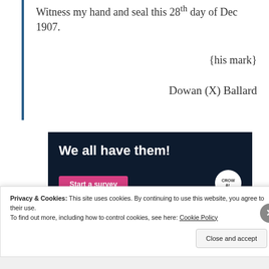Witness my hand and seal this 28th day of Dec 1907.
{his mark}
Dowan (X) Ballard
[Figure (screenshot): Advertisement banner with dark navy background showing 'We all have them!' headline in bold white text, a pink 'Start a survey' button, and a white circular logo in the bottom right corner.]
Privacy & Cookies: This site uses cookies. By continuing to use this website, you agree to their use.
To find out more, including how to control cookies, see here: Cookie Policy
Close and accept